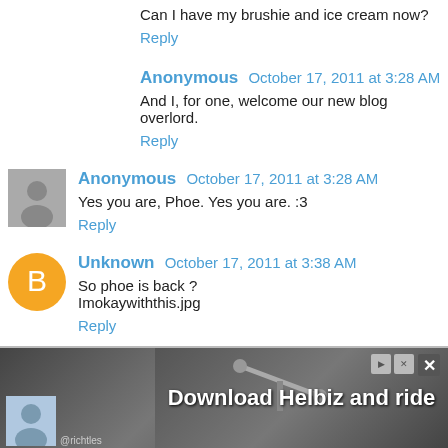Can I have my brushie and ice cream now?
Reply
Anonymous October 17, 2011 at 3:28 AM
And I, for one, welcome our new blog overlord.
Reply
Anonymous October 17, 2011 at 3:28 AM
Yes you are, Phoe. Yes you are. :3
Reply
Unknown October 17, 2011 at 3:38 AM
So phoe is back ?
Imokaywiththis.jpg
Reply
[Figure (screenshot): Advertisement banner for 'Download Helbiz and ride' with a dark background showing bicycle handlebars, play/close icons top-right, and a partial avatar bottom-left with handle @richtles]